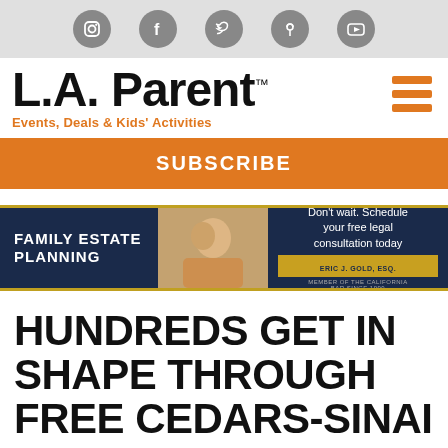Social media icons: Instagram, Facebook, Twitter, Pinterest, YouTube
L.A. Parent™
Events, Deals & Kids' Activities
SUBSCRIBE
[Figure (infographic): Family Estate Planning advertisement banner with text: Don't wait. Schedule your free legal consultation today. Eric J. Gold, Esq. Member of the California Bar Since 1999.]
HUNDREDS GET IN SHAPE THROUGH FREE CEDARS-SINAI